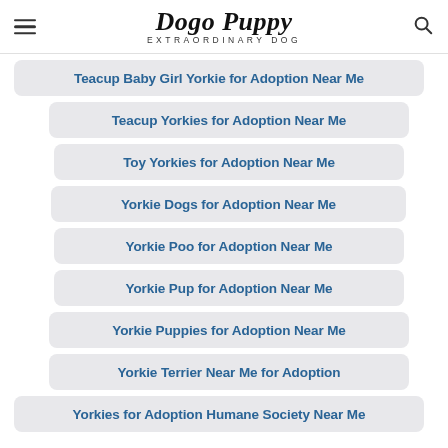Dogo Puppy EXTRAORDINARY DOG
Teacup Baby Girl Yorkie for Adoption Near Me
Teacup Yorkies for Adoption Near Me
Toy Yorkies for Adoption Near Me
Yorkie Dogs for Adoption Near Me
Yorkie Poo for Adoption Near Me
Yorkie Pup for Adoption Near Me
Yorkie Puppies for Adoption Near Me
Yorkie Terrier Near Me for Adoption
Yorkies for Adoption Humane Society Near Me